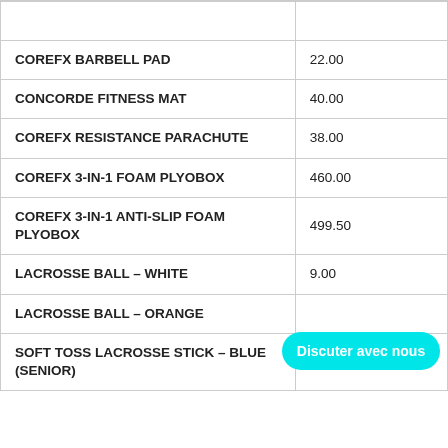| Product | Price |
| --- | --- |
| COREFX BARBELL PAD | 22.00 |
| CONCORDE FITNESS MAT | 40.00 |
| COREFX RESISTANCE PARACHUTE | 38.00 |
| COREFX 3-IN-1 FOAM PLYOBOX | 460.00 |
| COREFX 3-IN-1 ANTI-SLIP FOAM PLYOBOX | 499.50 |
| LACROSSE BALL – WHITE | 9.00 |
| LACROSSE BALL – ORANGE |  |
| SOFT TOSS LACROSSE STICK – BLUE (SENIOR) | 45.00 |